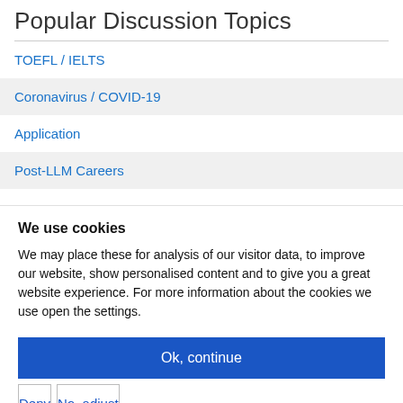Popular Discussion Topics
TOEFL / IELTS
Coronavirus / COVID-19
Application
Post-LLM Careers
We use cookies
We may place these for analysis of our visitor data, to improve our website, show personalised content and to give you a great website experience. For more information about the cookies we use open the settings.
Ok, continue
Deny
No, adjust